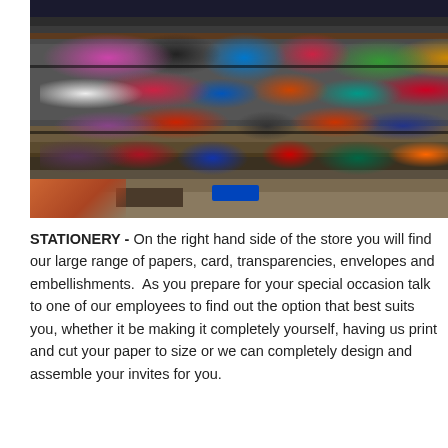[Figure (photo): A photo of a craft/stationery store interior showing shelves densely packed with colorful packaged craft supplies, ribbons, embellishments, beads, and decorative items. Lower shelves show boxes, a blue basket, and additional supplies.]
STATIONERY - On the right hand side of the store you will find our large range of papers, card, transparencies, envelopes and embellishments.  As you prepare for your special occasion talk to one of our employees to find out the option that best suits you, whether it be making it completely yourself, having us print and cut your paper to size or we can completely design and assemble your invites for you.